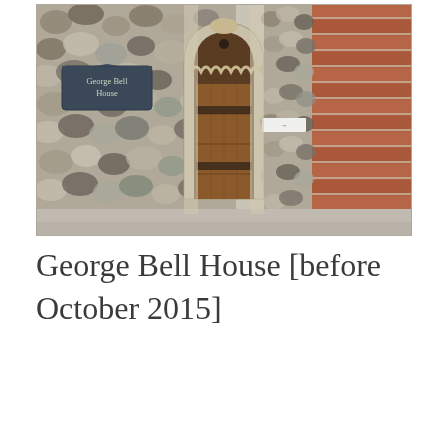[Figure (photo): Photograph of the entrance to George Bell House, showing a large wooden arched door set within a flint stone wall with brick accents. A small sign reading 'George Bell House' is visible on the left side of the wall.]
George Bell House [before October 2015]